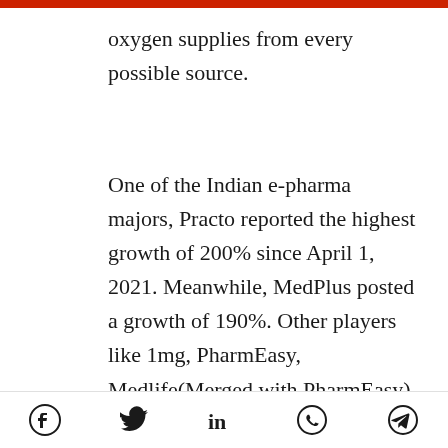oxygen supplies from every possible source.
One of the Indian e-pharma majors, Practo reported the highest growth of 200% since April 1, 2021. Meanwhile, MedPlus posted a growth of 190%. Other players like 1mg, PharmEasy, Medlife(Merged with PharmEasy) and others are experiencing a spike of
Social share icons: Facebook, Twitter, LinkedIn, WhatsApp, Telegram